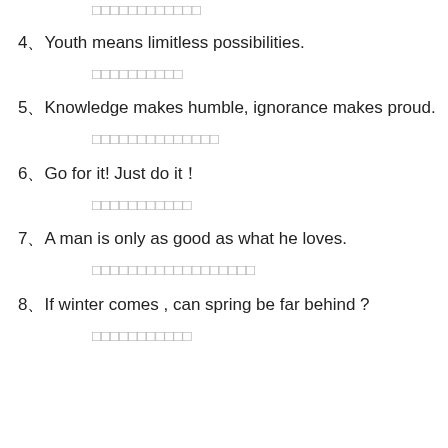□□□□□□□□□□□□
4、Youth means limitless possibilities.
□□□□□□□□□□
5、Knowledge makes humble, ignorance makes proud.
□□□□□□□□□□□□□□
6、Go for it! Just do it！
□□□□□□□□□□□
7、A man is only as good as what he loves.
□□□□□□□□□□□□□□□□□□
8、If winter comes , can spring be far behind ?
□□□□□□□□□□□